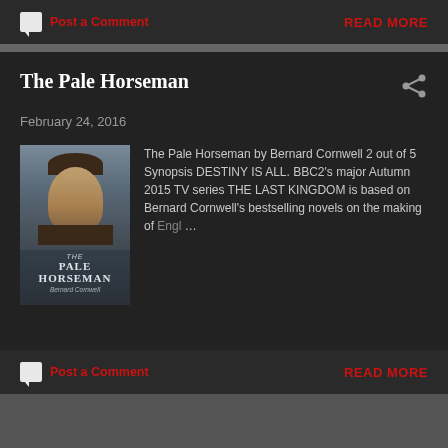12-year-old Anna Cooper is sent to live with an uncle she has never met – the Ravenma …
Post a Comment
READ MORE
The Pale Horseman
February 24, 2016
[Figure (photo): Book cover of The Pale Horseman by Bernard Cornwell, showing a dark-haired man against a moody background]
The Pale Horseman by Bernard Cornwell 2 out of 5 Synopsis DESTINY IS ALL. BBC2's major Autumn 2015 TV series THE LAST KINGDOM is based on Bernard Cornwell's bestselling novels on the making of Engl …
Post a Comment
READ MORE